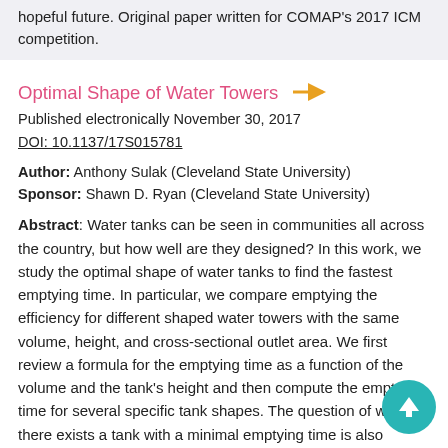hopeful future. Original paper written for COMAP's 2017 ICM competition.
Optimal Shape of Water Towers
Published electronically November 30, 2017
DOI: 10.1137/17S015781
Author: Anthony Sulak (Cleveland State University)
Sponsor: Shawn D. Ryan (Cleveland State University)
Abstract: Water tanks can be seen in communities all across the country, but how well are they designed? In this work, we study the optimal shape of water tanks to find the fastest emptying time. In particular, we compare emptying the efficiency for different shaped water towers with the same volume, height, and cross-sectional outlet area. We first review a formula for the emptying time as a function of the volume and the tank's height and then compute the emptying time for several specific tank shapes. The question of whether there exists a tank with a minimal emptying time is also considered in the context of prior work. Finally, our